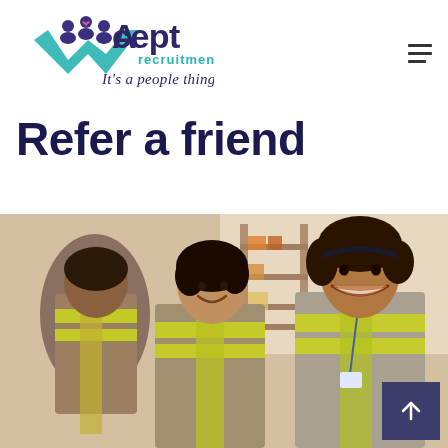[Figure (logo): Accept Recruitment logo with teal/purple chevron and people icons, tagline 'It's a people thing']
Refer a friend
[Figure (photo): Three warehouse workers in high-visibility yellow vests smiling and talking inside a warehouse/distribution center]
[Figure (other): Back to top arrow button (dark navy square with upward arrow icon)]